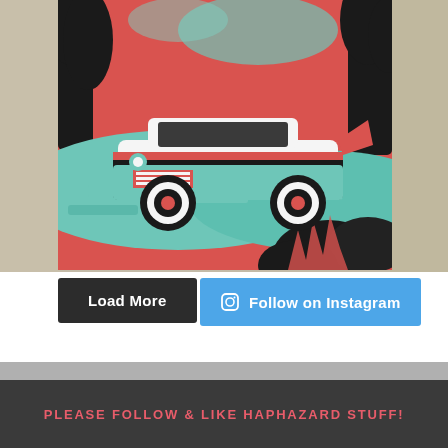[Figure (photo): A vintage retro-style print of a classic 1950s station wagon car in pink/red and teal colors, placed on a granite countertop background. The print shows the car on a road with trees and pink sky.]
Load More
Follow on Instagram
PLEASE FOLLOW & LIKE HAPHAZARD STUFF!